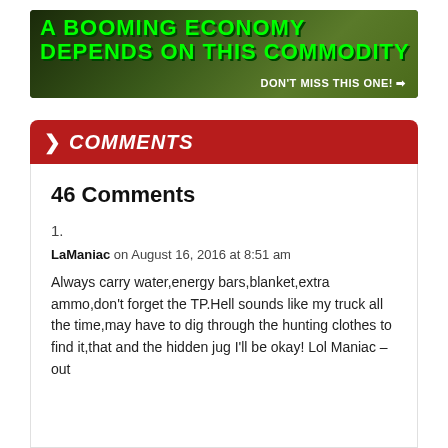[Figure (other): Advertisement banner with dark green aerial farm background. Bold green text reads 'A BOOMING ECONOMY DEPENDS ON THIS COMMODITY' with white call-to-action 'DON'T MISS THIS ONE!' and arrow icon.]
> COMMENTS
46 Comments
1.
LaManiac on August 16, 2016 at 8:51 am
Always carry water,energy bars,blanket,extra ammo,don't forget the TP.Hell sounds like my truck all the time,may have to dig through the hunting clothes to find it,that and the hidden jug I'll be okay! Lol Maniac –out